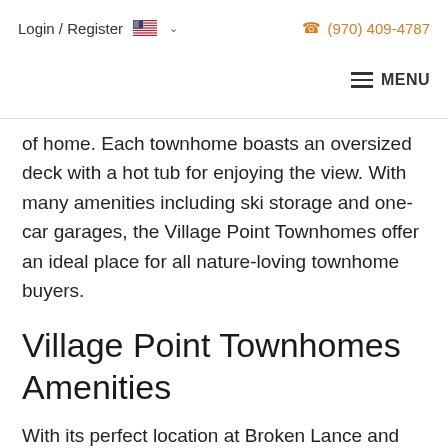Login / Register   🇺🇸 ∨   (970) 409-4787   MENU
of home. Each townhome boasts an oversized deck with a hot tub for enjoying the view. With many amenities including ski storage and one-car garages, the Village Point Townhomes offer an ideal place for all nature-loving townhome buyers.
Village Point Townhomes Amenities
With its perfect location at Broken Lance and Village Point drive, the Village Point Townhomes for sale are